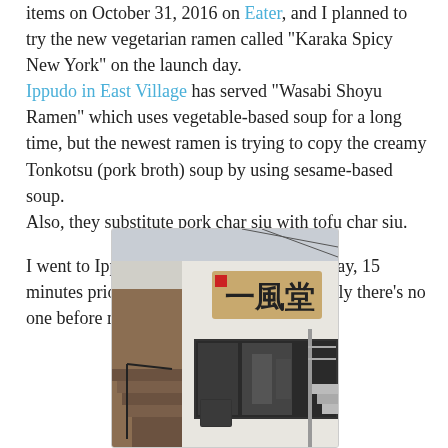items on October 31, 2016 on Eater, and I planned to try the new vegetarian ramen called "Karaka Spicy New York" on the launch day. Ippudo in East Village has served "Wasabi Shoyu Ramen" which uses vegetable-based soup for a long time, but the newest ramen is trying to copy the creamy Tonkotsu (pork broth) soup by using sesame-based soup. Also, they substitute pork char siu with tofu char siu.
I went to Ippudo Westside at 10:45 AM today, 15 minutes prior to the opening hour and luckily there's no one before me.
[Figure (photo): Exterior photo of Ippudo restaurant showing the storefront with Japanese characters on a wooden sign, glass windows, brick staircase on the left, and metal railings.]